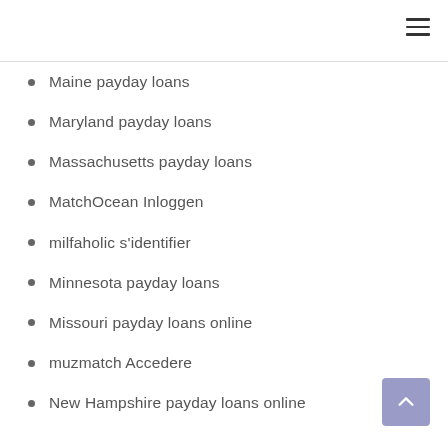Maine payday loans
Maryland payday loans
Massachusetts payday loans
MatchOcean Inloggen
milfaholic s'identifier
Minnesota payday loans
Missouri payday loans online
muzmatch Accedere
New Hampshire payday loans online